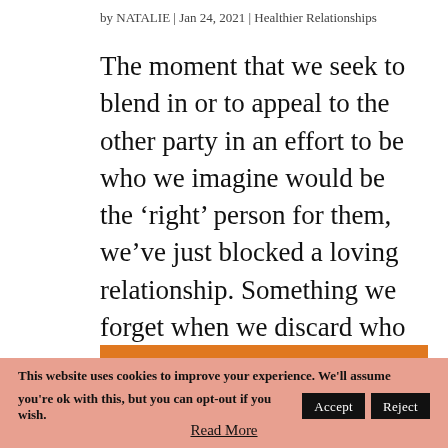by NATALIE | Jan 24, 2021 | Healthier Relationships
The moment that we seek to blend in or to appeal to the other party in an effort to be who we imagine would be the ‘right’ person for them, we’ve just blocked a loving relationship. Something we forget when we discard who we are is that by blending in to be like...
This website uses cookies to improve your experience. We'll assume you're ok with this, but you can opt-out if you wish. Accept Reject
Read More